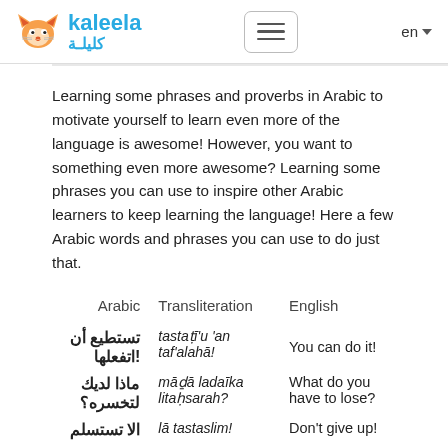kaleela كليلة — en
Learning some phrases and proverbs in Arabic to motivate yourself to learn even more of the language is awesome! However, you want to something even more awesome? Learning some phrases you can use to inspire other Arabic learners to keep learning the language! Here a few Arabic words and phrases you can use to do just that.
| Arabic | Transliteration | English |
| --- | --- | --- |
| تستطيع أن اتفعلها! | tastaṭī'u 'an taf'alahā! | You can do it! |
| ماذا لديك لتخسره؟ | māḏā ladaīka litaḥsarah? | What do you have to lose? |
| الا تستسلم | lā tastaslim! | Don't give up! |